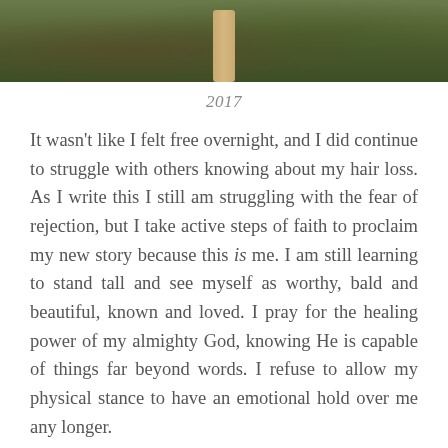[Figure (photo): Outdoor photo showing what appears to be a wooden post or pole against a blurred green background with foliage]
2017
It wasn't like I felt free overnight, and I did continue to struggle with others knowing about my hair loss. As I write this I still am struggling with the fear of rejection, but I take active steps of faith to proclaim my new story because this is me. I am still learning to stand tall and see myself as worthy, bald and beautiful, known and loved. I pray for the healing power of my almighty God, knowing He is capable of things far beyond words. I refuse to allow my physical stance to have an emotional hold over me any longer.
This is why I tell my story: Not only to show that God is still good in the mess of it all, but also to proclaim worth